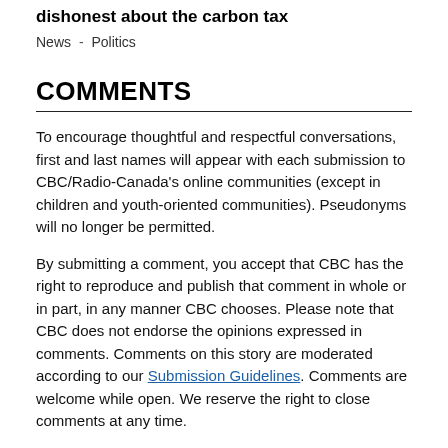dishonest about the carbon tax
News  -  Politics
COMMENTS
To encourage thoughtful and respectful conversations, first and last names will appear with each submission to CBC/Radio-Canada's online communities (except in children and youth-oriented communities). Pseudonyms will no longer be permitted.
By submitting a comment, you accept that CBC has the right to reproduce and publish that comment in whole or in part, in any manner CBC chooses. Please note that CBC does not endorse the opinions expressed in comments. Comments on this story are moderated according to our Submission Guidelines. Comments are welcome while open. We reserve the right to close comments at any time.
Become a CBC Member
Join the conversation  Create account  ›